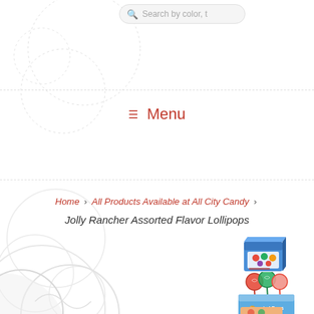Search by color, t
Menu
Home > All Products Available at All City Candy > Jolly Rancher Assorted Flavor Lollipops
[Figure (photo): Box of Jolly Rancher Assorted Flavor Lollipops]
[Figure (photo): Jolly Rancher lollipops on sticks, assorted colors]
[Figure (photo): Jolly Rancher Assorted Pops box/package]
[Figure (photo): Jolly Rancher candy product, partially visible at bottom]